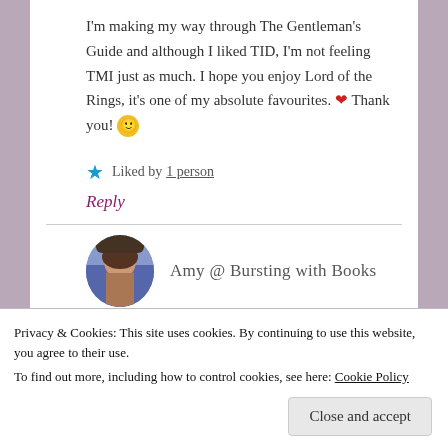I'm making my way through The Gentleman's Guide and although I liked TID, I'm not feeling TMI just as much. I hope you enjoy Lord of the Rings, it's one of my absolute favourites. ❤ Thank you! 🙂
Liked by 1 person
Reply
Amy @ Bursting with Books
Privacy & Cookies: This site uses cookies. By continuing to use this website, you agree to their use.
To find out more, including how to control cookies, see here: Cookie Policy
Close and accept
events don't come into play until book 4 or